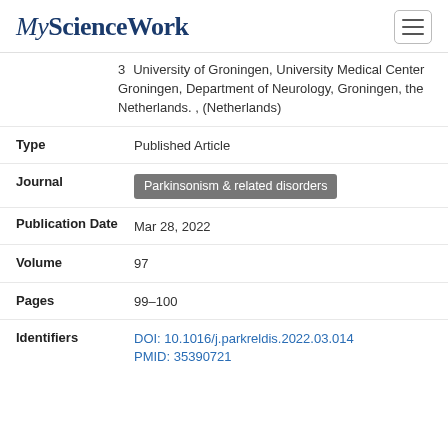[Figure (logo): MyScienceWork logo in dark blue italic/serif font with hamburger menu icon]
3   University of Groningen, University Medical Center Groningen, Department of Neurology, Groningen, the Netherlands. , (Netherlands)
Type
Published Article
Journal
Parkinsonism & related disorders
Publication Date
Mar 28, 2022
Volume
97
Pages
99–100
Identifiers
DOI: 10.1016/j.parkreldis.2022.03.014
PMID: 35390721